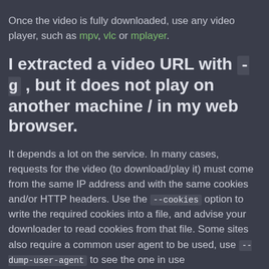Once the video is fully downloaded, use any video player, such as mpv, vlc or mplayer.
I extracted a video URL with -g , but it does not play on another machine / in my web browser.
It depends a lot on the service. In many cases, requests for the video (to download/play it) must come from the same IP address and with the same cookies and/or HTTP headers. Use the --cookies option to write the required cookies into a file, and advise your downloader to read cookies from that file. Some sites also require a common user agent to be used, use --dump-user-agent to see the one in use